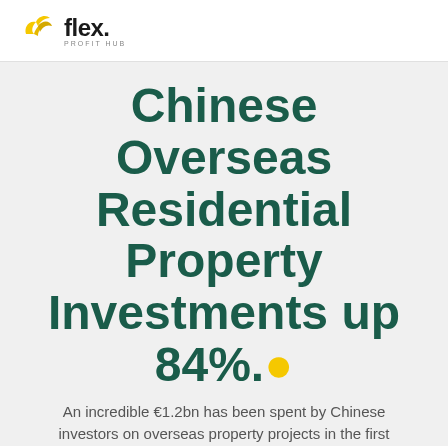flex. PROFIT HUB
Chinese Overseas Residential Property Investments up 84%.
An incredible €1.2bn has been spent by Chinese investors on overseas property projects in the first